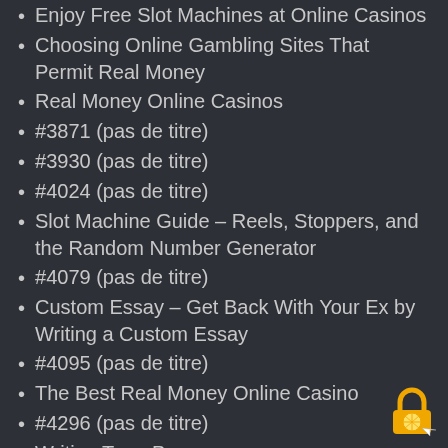Enjoy Free Slot Machines at Online Casinos
Choosing Online Gambling Sites That Permit Real Money
Real Money Online Casinos
#3871 (pas de titre)
#3930 (pas de titre)
#4024 (pas de titre)
Slot Machine Guide – Reels, Stoppers, and the Random Number Generator
#4079 (pas de titre)
Custom Essay – Get Back With Your Ex by Writing a Custom Essay
#4095 (pas de titre)
The Best Real Money Online Casino
#4296 (pas de titre)
Writing Term Papers
#4383 (pas de titre)
The Best Casino Games
Free Casino Slot Machines